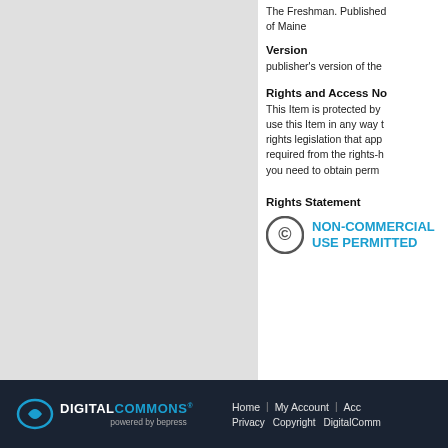The Freshman. Published of Maine
Version
publisher's version of the
Rights and Access No
This Item is protected by use this Item in any way t rights legislation that app required from the rights-h you need to obtain perm
Rights Statement
[Figure (logo): Non-Commercial Use Permitted badge with copyright C circle icon and blue text NON-COMMERCIAL USE PERMITTED]
DigitalCommons powered by bepress | Home | My Account | Acc | Privacy | Copyright | DigitalComm